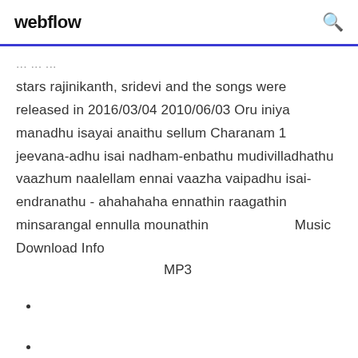webflow
stars rajinikanth, sridevi and the songs were released in 2016/03/04 2010/06/03 Oru iniya manadhu isayai anaithu sellum Charanam 1 jeevana-adhu isai nadham-enbathu mudivilladhathu vaazhum naalellam ennai vaazha vaipadhu isai-endranathu - ahahahaha ennathin raagathin minsarangal ennulla mounathin                           Music Download Info
MP3